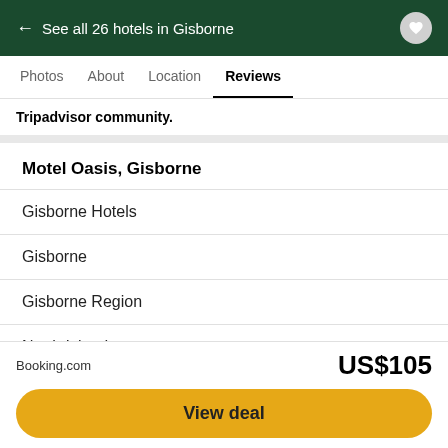← See all 26 hotels in Gisborne
Photos   About   Location   Reviews
Tripadvisor community.
Motel Oasis, Gisborne
Gisborne Hotels
Gisborne
Gisborne Region
North Island
New Zealand
Booking.com   US$105   View deal